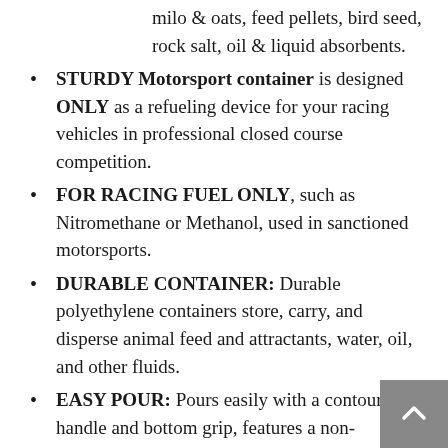milo & oats, feed pellets, bird seed, rock salt, oil & liquid absorbents.
STURDY Motorsport container is designed ONLY as a refueling device for your racing vehicles in professional closed course competition.
FOR RACING FUEL ONLY, such as Nitromethane or Methanol, used in sanctioned motorsports.
DURABLE CONTAINER: Durable polyethylene containers store, carry, and disperse animal feed and attractants, water, oil, and other fluids.
EASY POUR: Pours easily with a contoured handle and bottom grip, features a non-breakable, multipurpose cap and rubber gaskets to prevent leaks.